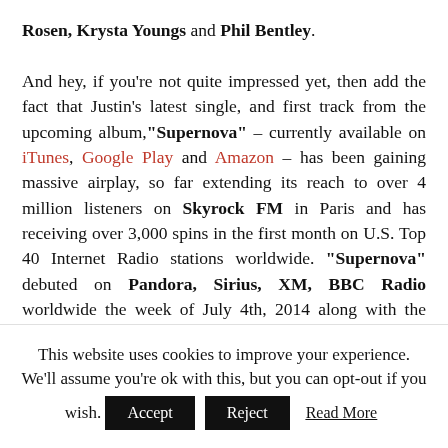Rosen, Krysta Youngs and Phil Bentley. And hey, if you're not quite impressed yet, then add the fact that Justin's latest single, and first track from the upcoming album,"Supernova" – currently available on iTunes, Google Play and Amazon – has been gaining massive airplay, so far extending its reach to over 4 million listeners on Skyrock FM in Paris and has receiving over 3,000 spins in the first month on U.S. Top 40 Internet Radio stations worldwide. "Supernova" debuted on Pandora, Sirius, XM, BBC Radio worldwide the week of July 4th, 2014 along with the official video releasing on VEVO
This website uses cookies to improve your experience. We'll assume you're ok with this, but you can opt-out if you wish.